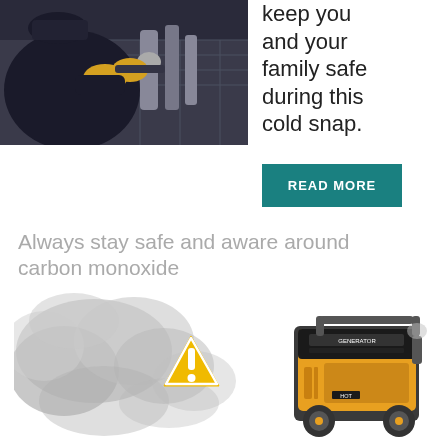[Figure (photo): Worker in dark uniform and yellow gloves working on gas pipes or equipment, viewed from behind.]
keep you and your family safe during this cold snap.
READ MORE
Always stay safe and aware around carbon monoxide
[Figure (illustration): Illustration of a yellow portable generator surrounded by dark grey smoke, with a yellow warning triangle (exclamation mark) on the left side.]
Unfortunately, cases of people trying to find creative ways to stay warm during the winter